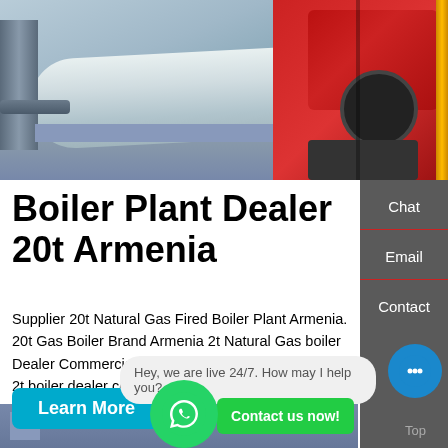[Figure (photo): Industrial boiler plant with a large cylindrical white boiler tank and red burner/engine unit on the right, installed in a facility with concrete flooring and visible piping.]
Boiler Plant Dealer 20t Armenia
Supplier 20t Natural Gas Fired Boiler Plant Armenia. 20t Gas Boiler Brand Armenia 2t Natural Gas boiler Dealer Commercial Armenia. The fuel of the oil-fired 2t boiler dealer commercial armenia is liquid (such as diesel oil kerosene etc.) the fuel of the gas fired boiler is (such as city biogas etc.) depending on what fuel the … Free Chat
Chat
Email
Contact
Learn More
Hey, we are live 24/7. How may I help you?
Contact us now!
Top